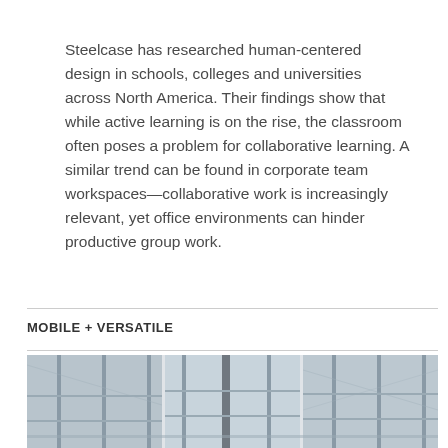Steelcase has researched human-centered design in schools, colleges and universities across North America. Their findings show that while active learning is on the rise, the classroom often poses a problem for collaborative learning. A similar trend can be found in corporate team workspaces—collaborative work is increasingly relevant, yet office environments can hinder productive group work.
MOBILE + VERSATILE
[Figure (photo): Strip of three architectural/interior photos showing what appears to be shelving or storage systems in a building, rendered in a horizontal band at the bottom of the page.]